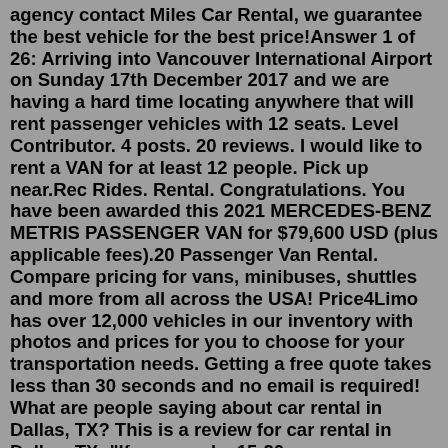agency contact Miles Car Rental, we guarantee the best vehicle for the best price!Answer 1 of 26: Arriving into Vancouver International Airport on Sunday 17th December 2017 and we are having a hard time locating anywhere that will rent passenger vehicles with 12 seats. Level Contributor. 4 posts. 20 reviews. I would like to rent a VAN for at least 12 people. Pick up near.Rec Rides. Rental. Congratulations. You have been awarded this 2021 MERCEDES-BENZ METRIS PASSENGER VAN for $79,600 USD (plus applicable fees).20 Passenger Van Rental. Compare pricing for vans, minibuses, shuttles and more from all across the USA! Price4Limo has over 12,000 vehicles in our inventory with photos and prices for you to choose for your transportation needs. Getting a free quote takes less than 30 seconds and no email is required! What are people saying about car rental in Dallas, TX? This is a review for car rental in Dallas, TX: "If you need a 15-20 passenger van this is your spot! I needed a comfortable van to carry 15 family members to a few